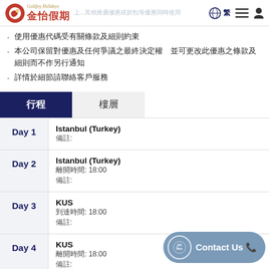金怡假期 Goldjoy Holidays 上...其他推廣優惠或折扣等優惠同時使用
使用優惠代碼受有關條款及細則約束
本公司保留對優惠及任何爭議之最終決定權　並可更改此優惠之條款及細則而不作另行通知
詳情於細節請聯絡客戶服務
行程　樓層
| Day | Itinerary |
| --- | --- |
| Day 1 | Istanbul (Turkey)
備註: |
| Day 2 | Istanbul (Turkey)
離開時間: 18:00
備註: |
| Day 3 | KUS
到達時間: 18:00
備註: |
| Day 4 | KUS
離開時間: 18:00
備註: |